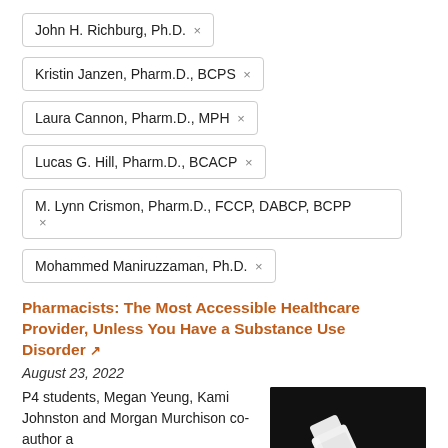John H. Richburg, Ph.D. ×
Kristin Janzen, Pharm.D., BCPS ×
Laura Cannon, Pharm.D., MPH ×
Lucas G. Hill, Pharm.D., BCACP ×
M. Lynn Crismon, Pharm.D., FCCP, DABCP, BCPP ×
Mohammed Maniruzzaman, Ph.D. ×
Pharmacists: The Most Accessible Healthcare Provider, Unless You Have a Substance Use Disorder
August 23, 2022
P4 students, Megan Yeung, Kami Johnston and Morgan Murchison co-author a
[Figure (photo): A white pill bottle lying on its side with white pills spilled out, photographed against a dark/black background.]